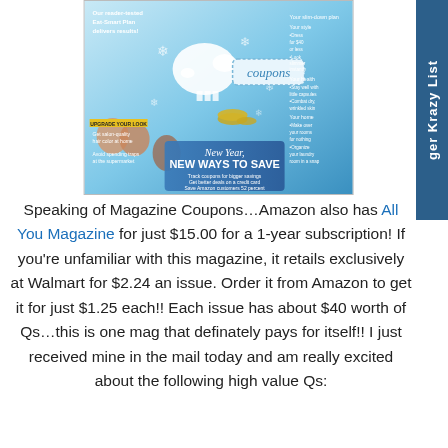[Figure (photo): Cover of All You Magazine featuring blue background, piggy bank, coins, snowflakes, coupon label, women on cover, 'New Year, NEW WAYS TO SAVE' banner at bottom]
Speaking of Magazine Coupons…Amazon also has All You Magazine for just $15.00 for a 1-year subscription! If you're unfamiliar with this magazine, it retails exclusively at Walmart for $2.24 an issue. Order it from Amazon to get it for just $1.25 each!! Each issue has about $40 worth of Qs…this is one mag that definately pays for itself!! I just received mine in the mail today and am really excited about the following high value Qs: